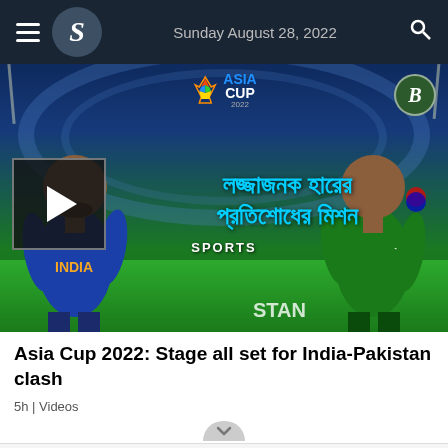Sunday August 28, 2022
[Figure (photo): Asia Cup 2022 promotional image showing two cricket players (India vs Pakistan) with Bengali text overlay and Asia Cup logo. Play button visible at lower left.]
Asia Cup 2022: Stage all set for India-Pakistan clash
5h | Videos